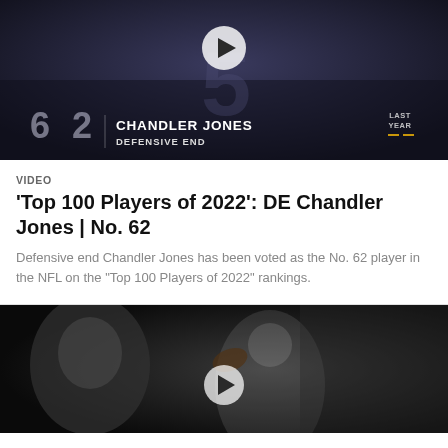[Figure (screenshot): Video thumbnail showing Chandler Jones as No. 62 Defensive End on NFL Top 100 Players of 2022 ranking graphic with dark blue background]
VIDEO
'Top 100 Players of 2022': DE Chandler Jones | No. 62
Defensive end Chandler Jones has been voted as the No. 62 player in the NFL on the "Top 100 Players of 2022" rankings.
[Figure (screenshot): Video thumbnail showing a Raiders quarterback in black and white throwing a football, with a player face in background]